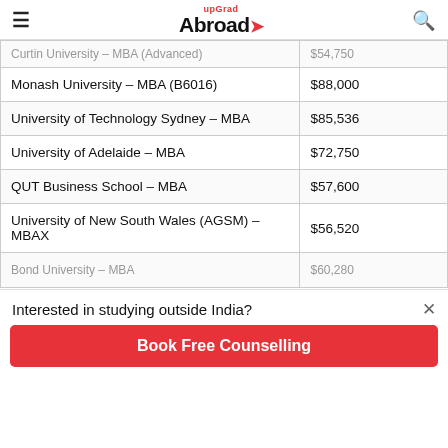upGrad Abroad
| University / Program | Fee |
| --- | --- |
| Curtin University – MBA (Advanced) | $54,750 |
| Monash University – MBA (B6016) | $88,000 |
| University of Technology Sydney – MBA | $85,536 |
| University of Adelaide – MBA | $72,750 |
| QUT Business School – MBA | $57,600 |
| University of New South Wales (AGSM) – MBAX | $56,520 |
| Bond University – MBA | $60,280 |
Interested in studying outside India?
Book Free Counselling